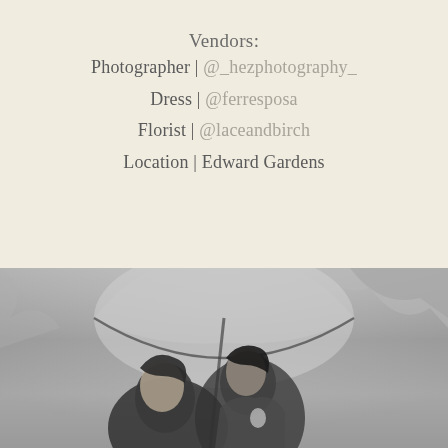Vendors:
Photographer | @_hezphotography_
Dress | @ferresposa
Florist | @laceandbirch
Location | Edward Gardens
[Figure (photo): Black and white photograph of a couple under a clear dome umbrella in a garden setting with trees in the background. The woman is in the foreground with closed eyes, and the man is behind her kissing her head.]